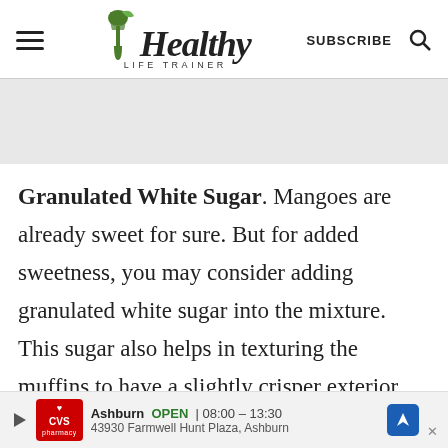Healthy Life Trainer — SUBSCRIBE
Granulated White Sugar. Mangoes are already sweet for sure. But for added sweetness, you may consider adding granulated white sugar into the mixture. This sugar also helps in texturing the muffins to have a slightly crisper exterior texture
[Figure (other): CVS Pharmacy advertisement banner showing Ashburn location, OPEN 08:00–13:30, 43930 Farmwell Hunt Plaza, Ashburn]